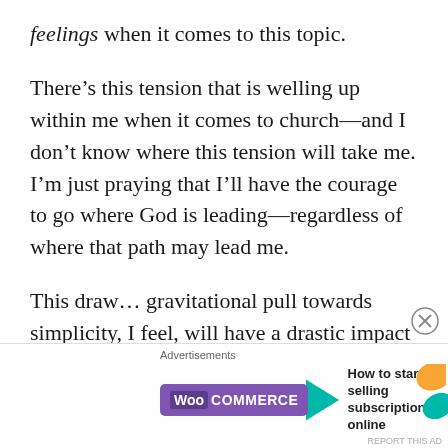feelings when it comes to this topic.
There’s this tension that is welling up within me when it comes to church—and I don’t know where this tension will take me. I’m just praying that I’ll have the courage to go where God is leading—regardless of where that path may lead me.
This draw… gravitational pull towards simplicity, I feel, will have a drastic impact on
[Figure (screenshot): WooCommerce advertisement banner: purple WooCommerce logo with teal arrow and orange/teal decorative shapes, text reads 'How to start selling subscriptions online']